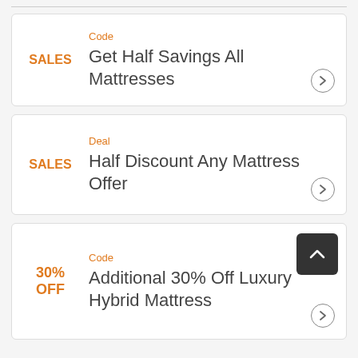Code
SALES — Get Half Savings All Mattresses
Deal
SALES — Half Discount Any Mattress Offer
Code
30% OFF — Additional 30% Off Luxury Hybrid Mattress